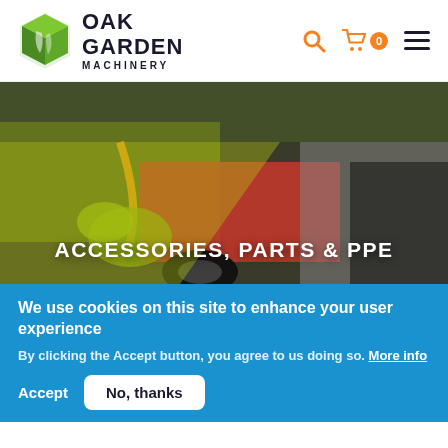Oak Garden Machinery
[Figure (screenshot): Website header with Oak Garden Machinery logo (green geometric leaf/box icon), brand name, search icon, cart with 0 badge, and hamburger menu]
[Figure (photo): Close-up photo of hands with yellow-green gloves handling garden machinery parts (oil being poured, red and black machine components, wheel visible), with diagonal yellow-green overlay and 'ACCESSORIES, PARTS & PPE' title text]
ACCESSORIES, PARTS & PPE
We use cookies on this site to enhance your user experience
By clicking the Accept button, you agree to us doing so. More info
Accept  No, thanks